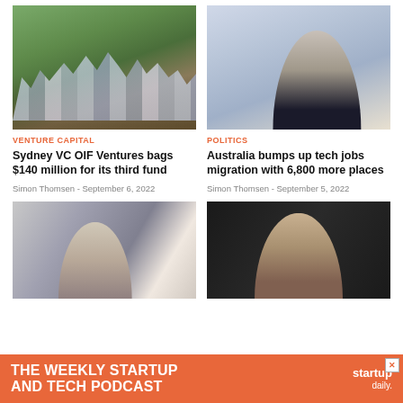[Figure (photo): Group photo of team members standing under a large tree outdoors]
[Figure (photo): Professional headshot of a man in a suit with grey hair, smiling]
VENTURE CAPITAL
POLITICS
Sydney VC OIF Ventures bags $140 million for its third fund
Australia bumps up tech jobs migration with 6,800 more places
Simon Thomsen - September 6, 2022
Simon Thomsen - September 5, 2022
[Figure (photo): Woman standing in front of a mural with geometric patterns]
[Figure (photo): Man's face partially visible against a dark background]
THE WEEKLY STARTUP AND TECH PODCAST
startup daily.